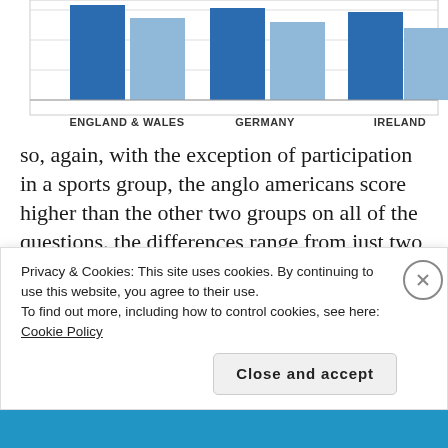[Figure (bar-chart): Partial bar chart showing grouped bars for England & Wales, Germany, and Ireland. Blue (dark) and blue (light) bars visible at top of page.]
so, again, with the exception of participation in a sports group, the anglo americans score higher than the other two groups on all of the questions. the differences range from just two points to eighteen. in the case of sports, german americans scored just a tad (one point) higher in participation than anglo americans and irish americans four points, but anglo americans are out in front on the other four civic behaviors
Privacy & Cookies: This site uses cookies. By continuing to use this website, you agree to their use.
To find out more, including how to control cookies, see here: Cookie Policy
Close and accept